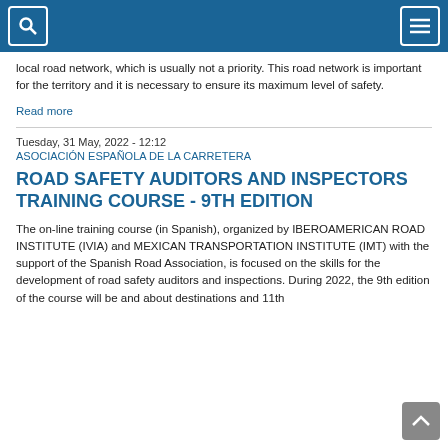[search icon] [menu icon]
local road network, which is usually not a priority. This road network is important for the territory and it is necessary to ensure its maximum level of safety.
Read more
Tuesday, 31 May, 2022 - 12:12
ASOCIACIÓN ESPAÑOLA DE LA CARRETERA
ROAD SAFETY AUDITORS AND INSPECTORS TRAINING COURSE - 9TH EDITION
The on-line training course (in Spanish), organized by IBEROAMERICAN ROAD INSTITUTE (IVIA) and MEXICAN TRANSPORTATION INSTITUTE (IMT) with the support of the Spanish Road Association, is focused on the skills for the development of road safety auditors and inspections. During 2022, the 9th edition of the course will be and about destinations and 11th